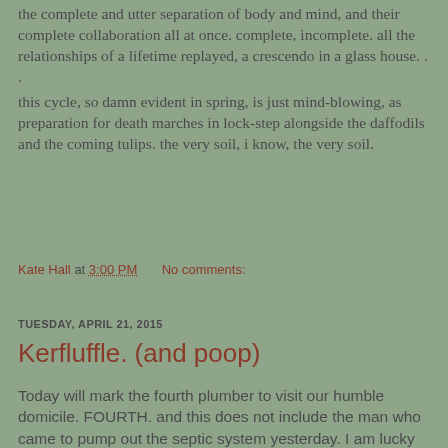the complete and utter separation of body and mind, and their complete collaboration all at once.  complete, incomplete.  all the relationships of a lifetime replayed, a crescendo in a glass house. . .
this cycle, so damn evident in spring, is just mind-blowing, as preparation for death marches in lock-step alongside the daffodils and the coming tulips.  the very soil, i know, the very soil.
Kate Hall at 3:00 PM    No comments:
TUESDAY, APRIL 21, 2015
Kerfluffle. (and poop)
Today will mark the fourth plumber to visit our humble domicile.  FOURTH.  and this does not include the man who came to pump out the septic system yesterday.  I am lucky to have friends who count as the first group, because probably